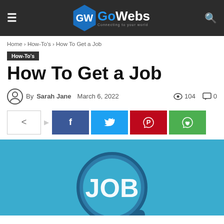GoWebs — site header with logo, hamburger menu, and search icon
Home › How-To's › How To Get a Job
How-To's
How To Get a Job
By Sarah Jane   March 6, 2022   104 views   0 comments
[Figure (infographic): Social share buttons: share toggle icon, Facebook, Twitter, Pinterest, WhatsApp]
[Figure (illustration): Blue background hero image showing a magnifying glass with 'JOB' text inside]